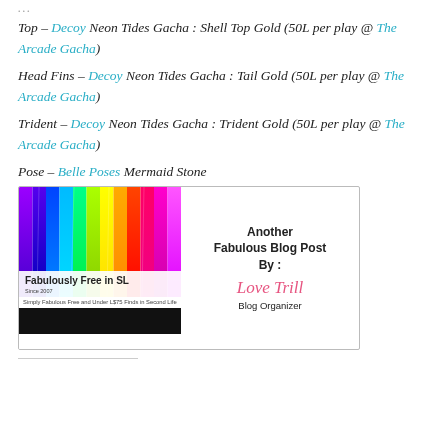Top – Decoy Neon Tides Gacha : Shell Top Gold (50L per play @ The Arcade Gacha)
Head Fins – Decoy Neon Tides Gacha : Tail Gold (50L per play @ The Arcade Gacha)
Trident – Decoy Neon Tides Gacha : Trident Gold (50L per play @ The Arcade Gacha)
Pose – Belle Poses Mermaid Stone
[Figure (infographic): Fabulously Free in SL blog badge with rainbow streaks on the left panel, text 'Fabulously Free in SL' and 'Simply Fabulous Free and Under L$75 Finds in Second Life', and on the right 'Another Fabulous Blog Post By : Love Trill Blog Organizer']